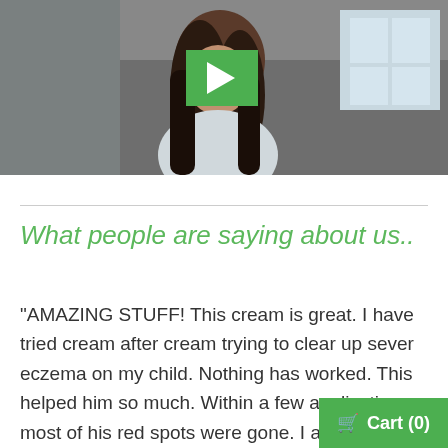[Figure (photo): Video thumbnail showing a woman with dark hair outdoors near a house, with a green play button overlay in the center]
What people are saying about us..
"AMAZING STUFF! This cream is great. I have tried cream after cream trying to clear up sever eczema on my child. Nothing has worked. This helped him so much. Within a few applications, most of his red spots were gone. I also use this on my severely dry hands and it works like magic. My hands in